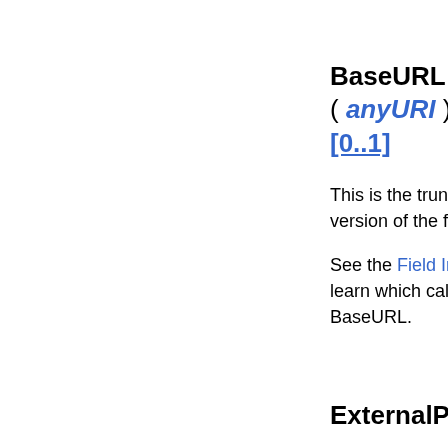BaseURL ( anyURI ) [0..1]
This is the truncated version of the full URL.
See the Field Index to learn which calls use BaseURL.
ExternalPictu